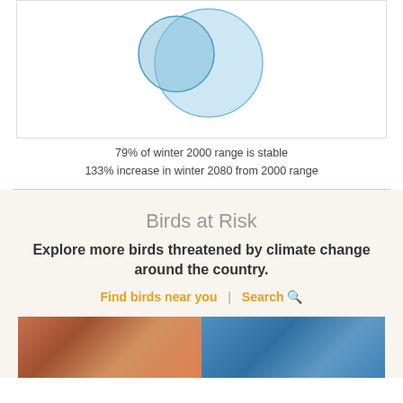[Figure (other): Venn diagram showing two overlapping blue circles representing winter 2000 bird range and winter 2080 bird range. The left circle is slightly smaller and outlined, overlapping with a larger light blue filled circle on the right.]
79% of winter 2000 range is stable
133% increase in winter 2080 from 2000 range
Birds at Risk
Explore more birds threatened by climate change around the country.
Find birds near you  |  Search 🔍
[Figure (photo): Two bird photos side by side at the bottom of the page. Left photo shows a close-up of a bird with reddish-brown plumage. Right photo shows a bird against a blue sky background.]